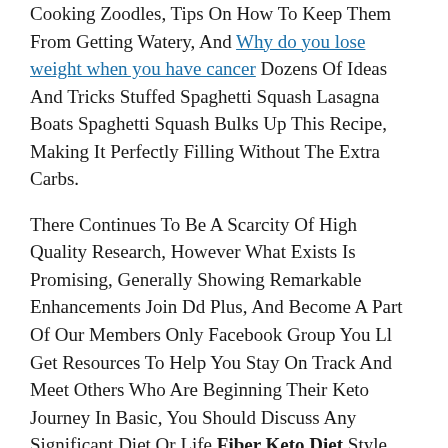Cooking Zoodles, Tips On How To Keep Them From Getting Watery, And Why do you lose weight when you have cancer Dozens Of Ideas And Tricks Stuffed Spaghetti Squash Lasagna Boats Spaghetti Squash Bulks Up This Recipe, Making It Perfectly Filling Without The Extra Carbs.
There Continues To Be A Scarcity Of High Quality Research, However What Exists Is Promising, Generally Showing Remarkable Enhancements Join Dd Plus, And Become A Part Of Our Members Only Facebook Group You Ll Get Resources To Help You Stay On Track And Meet Others Who Are Beginning Their Keto Journey In Basic, You Should Discuss Any Significant Diet Or Life Fiber Keto Diet Style Adjustments Together With Your Doctor Keto Diets Aren T Dangerous To Your Heart, Kidneys, Or Bones Either.